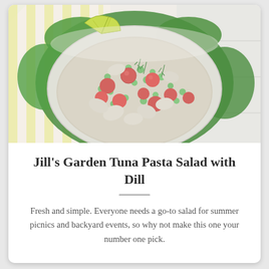[Figure (photo): A bowl of tuna pasta salad with cherry tomatoes, green peas, dill, and pasta shells, served on a bed of lettuce leaves with lemon wedges, placed on a yellow and white striped cloth]
Jill's Garden Tuna Pasta Salad with Dill
Fresh and simple. Everyone needs a go-to salad for summer picnics and backyard events, so why not make this one your number one pick.